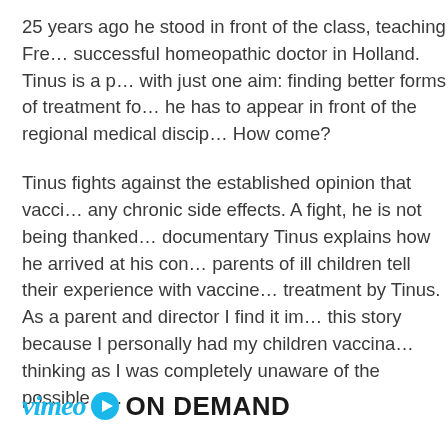25 years ago he stood in front of the class, teaching Fre… successful homeopathic doctor in Holland. Tinus is a p… with just one aim: finding better forms of treatment fo… he has to appear in front of the regional medical discip… How come?
Tinus fights against the established opinion that vacci… any chronic side effects. A fight, he is not being thanked… documentary Tinus explains how he arrived at his con… parents of ill children tell their experience with vaccine… treatment by Tinus. As a parent and director I find it im… this story because I personally had my children vaccina… thinking as I was completely unaware of the possible c…
[Figure (logo): Vimeo On Demand logo with italic vimeo text in teal, a blue play button arrow, and bold ON DEMAND text in black]